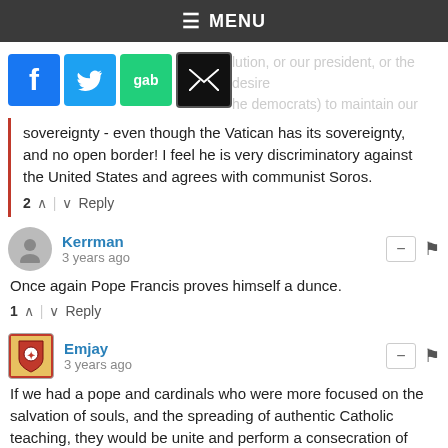≡ MENU
[Figure (screenshot): Social sharing icons: Facebook (blue), Twitter (blue bird), Gab (green), Email (black envelope), with faded background text about constitution, president, sovereignty, democrats]
sovereignty - even though the Vatican has its sovereignty, and no open border! I feel he is very discriminatory against the United States and agrees with communist Soros.
2 ∧ | ∨ Reply
Kerrman
3 years ago
Once again Pope Francis proves himself a dunce.
1 ∧ | ∨ Reply
Emjay
3 years ago
If we had a pope and cardinals who were more focused on the salvation of souls, and the spreading of authentic Catholic teaching, they would be unite and perform a consecration of China to the Immaculate Heart of Mary.
7 ∧ | ∨ Reply